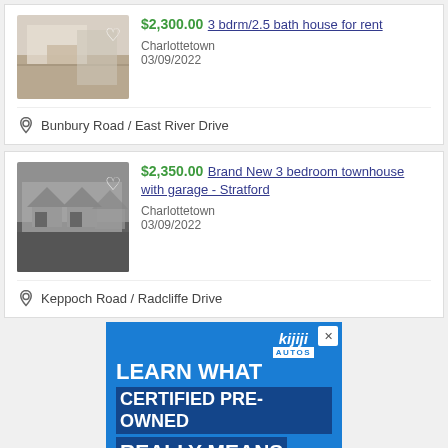[Figure (photo): Interior photo of a modern house with stairs and kitchen area]
$2,300.00 3 bdrm/2.5 bath house for rent
Charlottetown
03/09/2022
Bunbury Road / East River Drive
[Figure (photo): Exterior photo of a townhouse development with garages]
$2,350.00 Brand New 3 bedroom townhouse with garage - Stratford
Charlottetown
03/09/2022
Keppoch Road / Radcliffe Drive
[Figure (advertisement): Kijiji Autos advertisement banner: LEARN WHAT CERTIFIED PRE-OWNED REALLY MEANS]
Read more